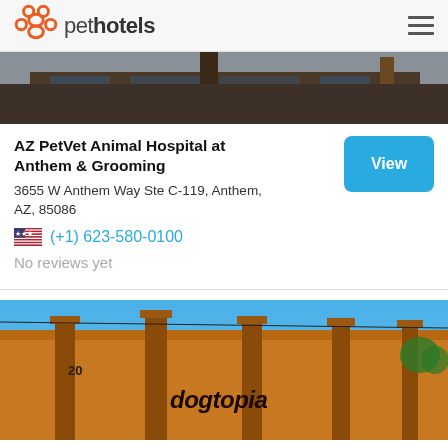pethotels
[Figure (photo): Exterior photo of a brick building, partially visible at top of page]
AZ PetVet Animal Hospital at Anthem & Grooming
3655 W Anthem Way Ste C-119, Anthem, AZ, 85086
(+1) 623-580-0100
No reviews yet
[Figure (photo): Exterior photo of a yellow/orange brick building with 'dogtopia' sign visible, blue sky in background]